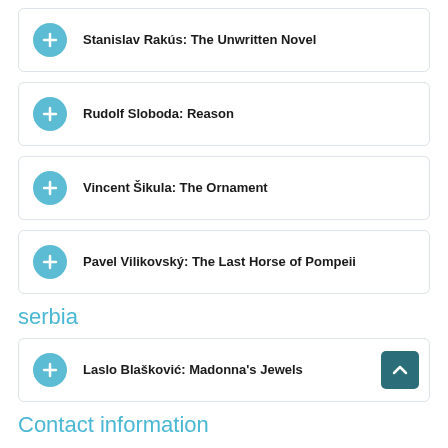Stanislav Rakús: The Unwritten Novel
Rudolf Sloboda: Reason
Vincent Šikula: The Ornament
Pavel Vilikovský: The Last Horse of Pompeii
serbia
Laslo Blašković: Madonna's Jewels
Contact information